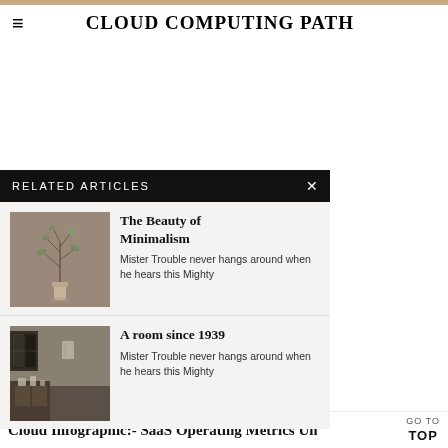CLOUD COMPUTING PATH
RELATED ARTICLES
The Beauty of Minimalism
Mister Trouble never hangs around when he hears this Mighty
A room since 1939
Mister Trouble never hangs around when he hears this Mighty
Cloud Infographic:- SaaS Operating Metrics Un...
GO TO TOP